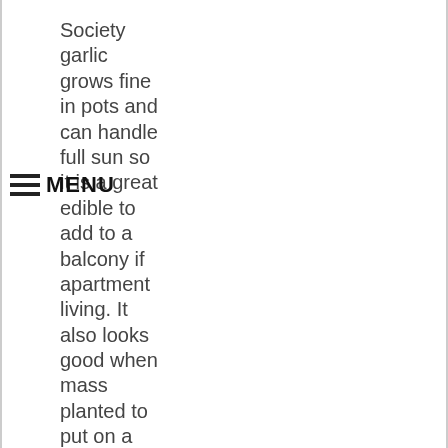Society garlic grows fine in pots and can handle full sun so it is a great edible to add to a balcony if apartment living. It also looks good when mass planted to put on a show and add colour to the garden